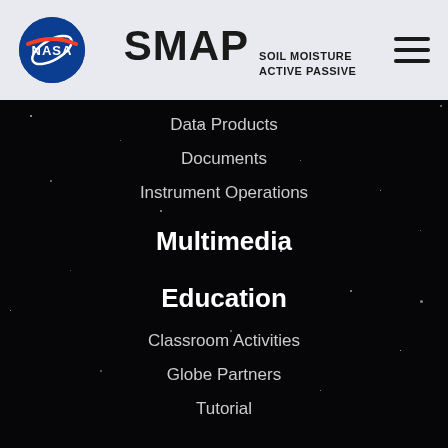NASA SMAP SOIL MOISTURE ACTIVE PASSIVE
Data Products
Documents
Instrument Operations
Multimedia
Education
Classroom Activities
Globe Partners
Tutorial
News & Events
News
Meetings and Workshops